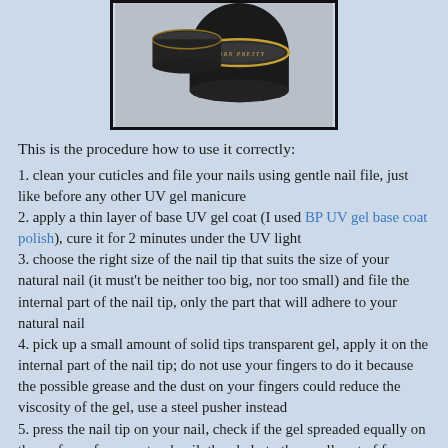[Figure (photo): Photo of two black nail gel product containers (BORN PRETTY brand) on a light gray surface]
This is the procedure how to use it correctly:
1. clean your cuticles and file your nails using gentle nail file, just like before any other UV gel manicure
2. apply a thin layer of base UV gel coat (I used BP UV gel base coat polish), cure it for 2 minutes under the UV light
3. choose the right size of the nail tip that suits the size of your natural nail (it must't be neither too big, nor too small) and file the internal part of the nail tip, only the part that will adhere to your natural nail
4. pick up a small amount of solid tips transparent gel, apply it on the internal part of the nail tip; do not use your fingers to do it because the possible grease and the dust on your fingers could reduce the viscosity of the gel, use a steel pusher instead
5. press the nail tip on your nail, check if the gel spreaded equally on the surface of your natural nail, then help to the small part of gel